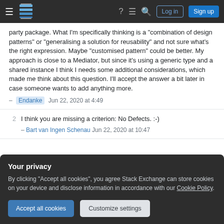Stack Exchange navigation bar with Log in and Sign up buttons
party package. What I'm specifically thinking is a "combination of design patterns" or "generalising a solution for reusability" and not sure what's the right expression. Maybe "customised pattern" could be better. My approach is close to a Mediator, but since it's using a generic type and a shared instance I think I needs some additional considerations, which made me think about this question. I'll accept the answer a bit later in case someone wants to add anything more.
– Endanke Jun 22, 2020 at 4:49
I think you are missing a criterion: No Defects. :-)
– Bart van Ingen Schenau Jun 22, 2020 at 10:47
Your privacy
By clicking "Accept all cookies", you agree Stack Exchange can store cookies on your device and disclose information in accordance with our Cookie Policy.
Accept all cookies  Customize settings